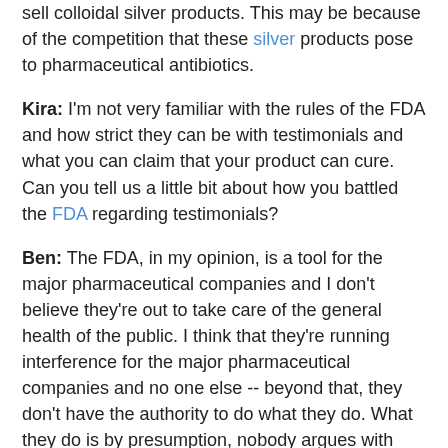sell colloidal silver products. This may be because of the competition that these silver products pose to pharmaceutical antibiotics.
Kira: I'm not very familiar with the rules of the FDA and how strict they can be with testimonials and what you can claim that your product can cure. Can you tell us a little bit about how you battled the FDA regarding testimonials?
Ben: The FDA, in my opinion, is a tool for the major pharmaceutical companies and I don't believe they're out to take care of the general health of the public. I think that they're running interference for the major pharmaceutical companies and no one else -- beyond that, they don't have the authority to do what they do. What they do is by presumption, nobody argues with them. The FDA act was passed in 1938 and it set up the food, drug, and cosmetic